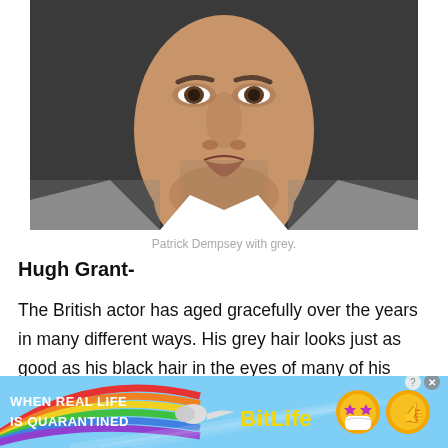[Figure (photo): Close-up photo of a man (Patrick Dempsey) with grey hair, wearing a grey blazer and white shirt, against a dark background.]
Patrick Dempsey with grey.
Hugh Grant-
The British actor has aged gracefully over the years in many different ways. His grey hair looks just as good as his black hair in the eyes of many of his fans.
[Figure (infographic): Advertisement banner for BitLife app with rainbow arc, sperm icon, text 'WHEN REAL LIFE IS QUARANTINED', BitLife logo in yellow, and cartoon emoji characters.]